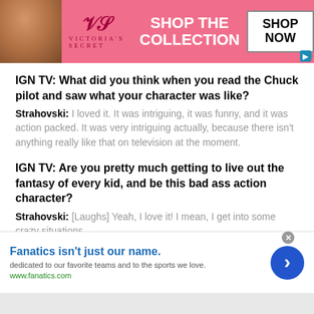[Figure (other): Victoria's Secret advertisement banner with model photo, pink background, 'SHOP THE COLLECTION' text and 'SHOP NOW' button]
IGN TV: What did you think when you read the Chuck pilot and saw what your character was like?
Strahovski: I loved it. It was intriguing, it was funny, and it was action packed. It was very intriguing actually, because there isn't anything really like that on television at the moment.
IGN TV: Are you pretty much getting to live out the fantasy of every kid, and be this bad ass action character?
Strahovski: [Laughs] Yeah, I love it! I mean, I get into some crazy situations.
IGN TV: You have a very impressive scene in the pilot where
[Figure (other): Fanatics advertisement banner with text 'Fanatics isn't just our name.' and blue circular arrow button]